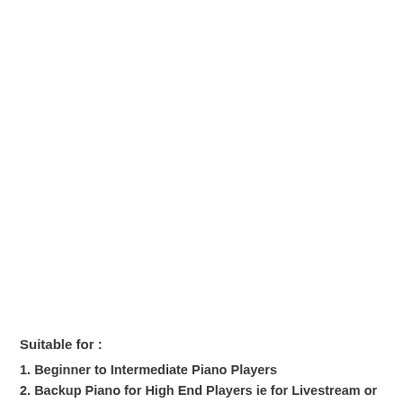Suitable for :
1. Beginner to Intermediate Piano Players
2. Backup Piano for High End Players ie for Livestream or